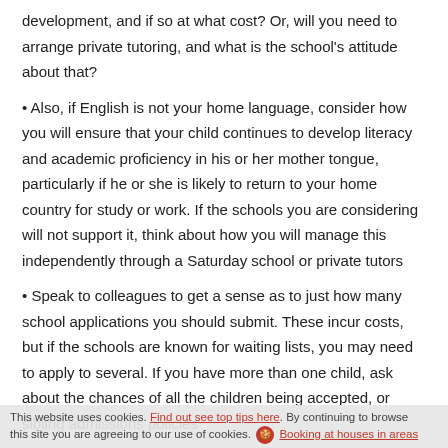development, and if so at what cost? Or, will you need to arrange private tutoring, and what is the school's attitude about that?
• Also, if English is not your home language, consider how you will ensure that your child continues to develop literacy and academic proficiency in his or her mother tongue, particularly if he or she is likely to return to your home country for study or work. If the schools you are considering will not support it, think about how you will manage this independently through a Saturday school or private tutors
• Speak to colleagues to get a sense as to just how many school applications you should submit. These incur costs, but if the schools are known for waiting lists, you may need to apply to several. If you have more than one child, ask about the chances of all the children being accepted, or sibling admissions policies
• Avoid making any commitments about housing until you know your school options. If you have a tool, see top tips here. By considering all the school options, you could relocate to be sure this site you are agreeing to our use of cookies. Booking at houses in areas